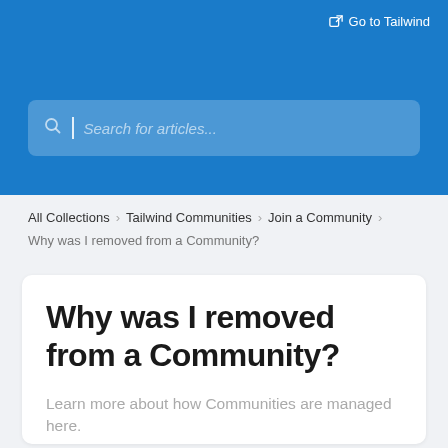Go to Tailwind
[Figure (screenshot): Search bar with placeholder text 'Search for articles...' on blue background]
All Collections > Tailwind Communities > Join a Community
Why was I removed from a Community?
Why was I removed from a Community?
Learn more about how Communities are managed here.